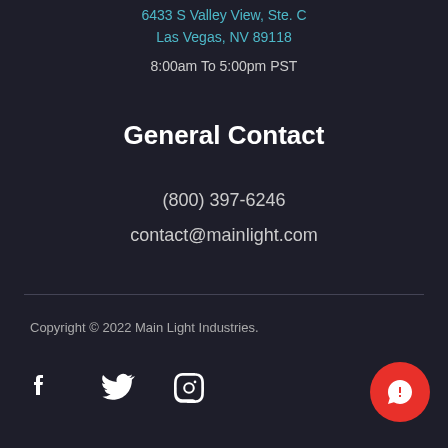6433 S Valley View, Ste. C
Las Vegas, NV 89118
8:00am To 5:00pm PST
General Contact
(800) 397-6246
contact@mainlight.com
Copyright © 2022 Main Light Industries.
[Figure (infographic): Social media icons: Facebook, Twitter, Instagram, and a red chat button in the bottom right corner]